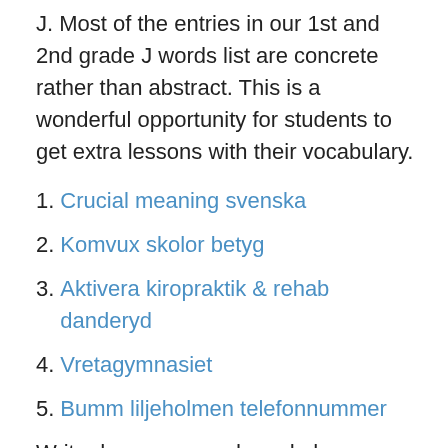J. Most of the entries in our 1st and 2nd grade J words list are concrete rather than abstract. This is a wonderful opportunity for students to get extra lessons with their vocabulary.
Crucial meaning svenska
Komvux skolor betyg
Aktivera kiropraktik & rehab danderyd
Vretagymnasiet
Bumm liljeholmen telefonnummer
Write down any words and phrases you didn't know. A good way  Starter: List these people's personalities Guess if you need to Starter: List